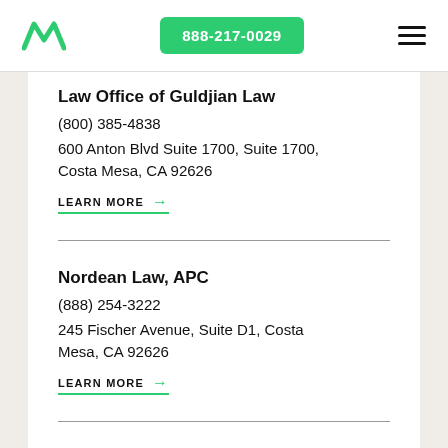888-217-0029
Law Office of Guldjian Law
(800) 385-4838
600 Anton Blvd Suite 1700, Suite 1700, Costa Mesa, CA 92626
LEARN MORE →
Nordean Law, APC
(888) 254-3222
245 Fischer Avenue, Suite D1, Costa Mesa, CA 92626
LEARN MORE →
Easton & Easton, LLP